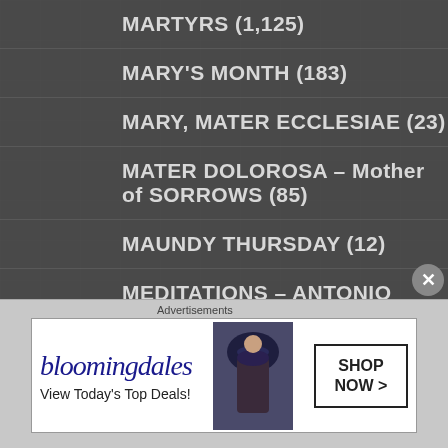MARTYRS (1,125)
MARY'S MONTH (183)
MARY, MATER ECCLESIAE (23)
MATER DOLOROSA – Mother of SORROWS (85)
MAUNDY THURSDAY (12)
MEDITATIONS – ANTONIO CARD BACCI (836)
MINI SERIES (6)
MIRACLES (59)
MODESTY (5)
MORNING Prayers (3,197)
MOTHER of GOD (51)
Advertisements
[Figure (other): Bloomingdales advertisement banner: logo text 'bloomingdales', tagline 'View Today's Top Deals!', image of woman wearing a large brimmed hat, and a 'SHOP NOW >' button]